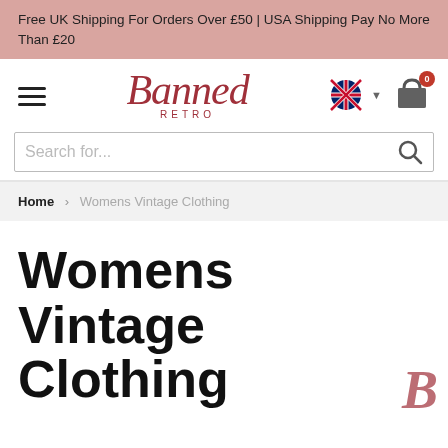Free UK Shipping For Orders Over £50 | USA Shipping Pay No More Than £20
[Figure (logo): Banned Retro logo with script 'Banned' in red and 'RETRO' in small caps below, navigation hamburger menu, UK flag language selector, and shopping cart icon with 0 badge]
Search for...
Home > Womens Vintage Clothing
Womens Vintage Clothing